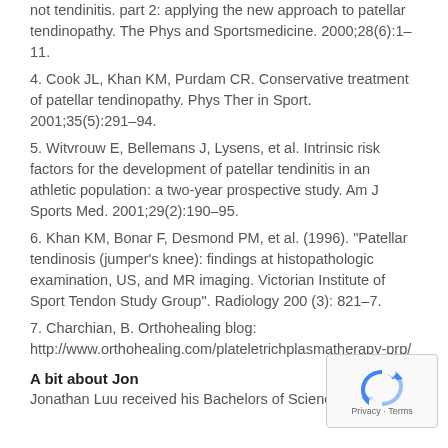not tendinitis. part 2: applying the new approach to patellar tendinopathy. The Phys and Sportsmedicine. 2000;28(6):1–11.
4. Cook JL, Khan KM, Purdam CR. Conservative treatment of patellar tendinopathy. Phys Ther in Sport. 2001;35(5):291–94.
5. Witvrouw E, Bellemans J, Lysens, et al. Intrinsic risk factors for the development of patellar tendinitis in an athletic population: a two-year prospective study. Am J Sports Med. 2001;29(2):190–95.
6. Khan KM, Bonar F, Desmond PM, et al. (1996). "Patellar tendinosis (jumper's knee): findings at histopathologic examination, US, and MR imaging. Victorian Institute of Sport Tendon Study Group". Radiology 200 (3): 821–7.
7. Charchian, B. Orthohealing blog: http://www.orthohealing.com/plateletrichplasmatherapy-prp/
A bit about Jon
Jonathan Luu received his Bachelors of Science in